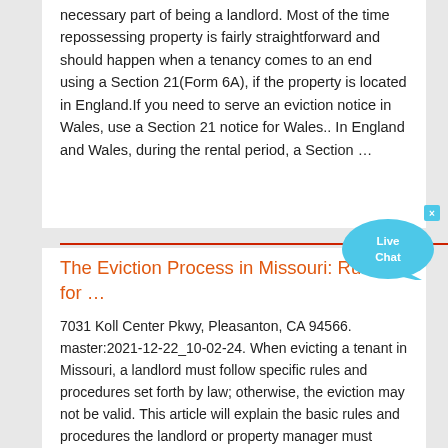necessary part of being a landlord. Most of the time repossessing property is fairly straightforward and should happen when a tenancy comes to an end using a Section 21(Form 6A), if the property is located in England.If you need to serve an eviction notice in Wales, use a Section 21 notice for Wales.. In England and Wales, during the rental period, a Section …
[Figure (illustration): Live Chat bubble graphic — a cyan/light-blue speech bubble with 'Live Chat' text in white, with a small close (x) button in the top right corner.]
The Eviction Process in Missouri: Rules for …
7031 Koll Center Pkwy, Pleasanton, CA 94566. master:2021-12-22_10-02-24. When evicting a tenant in Missouri, a landlord must follow specific rules and procedures set forth by law; otherwise, the eviction may not be valid. This article will explain the basic rules and procedures the landlord or property manager must follow when evicting a tenant ...McCarthy Stone Reviews | Read Customer Service Reviews …Smooth process with lots of personal touches for helping my Mum to easily move into William House McCarthy & Stone Plus. Amy, Clare and others have been brilliant in helping to take the stress out of the move and helping her to settle in. The